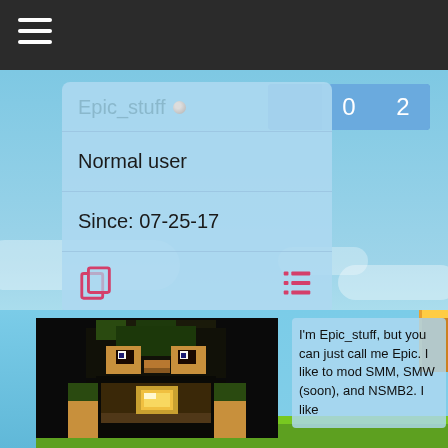Navigation menu bar with hamburger icon
Epic_stuff
Normal user
Since: 07-25-17
[Figure (screenshot): Pixel art avatar of a Minecraft-style character with dark hair and brown/green outfit]
I'm Epic_stuff, but you can just call me Epic. I like to mod SMM, SMW (soon), and NSMB2. I like
|  | 0 | 2 |
| --- | --- | --- |